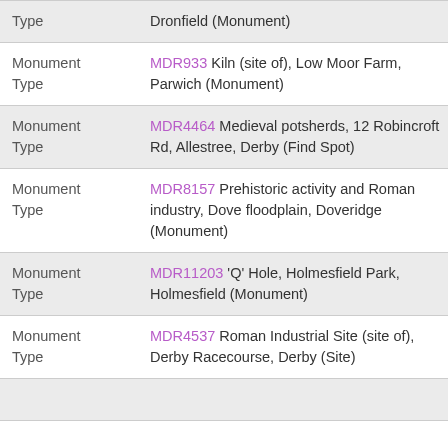| Field | Value |
| --- | --- |
| Monument Type | Dronfield (Monument) |
| Monument Type | MDR933 Kiln (site of), Low Moor Farm, Parwich (Monument) |
| Monument Type | MDR4464 Medieval potsherds, 12 Robincroft Rd, Allestree, Derby (Find Spot) |
| Monument Type | MDR8157 Prehistoric activity and Roman industry, Dove floodplain, Doveridge (Monument) |
| Monument Type | MDR11203 'Q' Hole, Holmesfield Park, Holmesfield (Monument) |
| Monument Type | MDR4537 Roman Industrial Site (site of), Derby Racecourse, Derby (Site) |